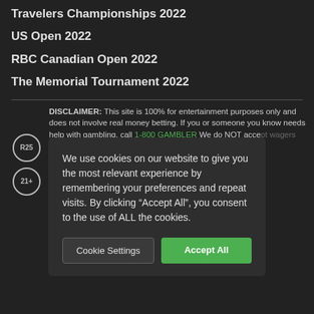Travelers Championships 2022
US Open 2022
RBC Canadian Open 2022
The Memorial Tournament 2022
DISCLAIMER: This site is 100% for entertainment purposes only and does not involve real money betting. If you or someone you know needs help with gambling, call 1-800 GAMBLER We do NOT accept wagers with real money. We do not condone or irresponsible gambling. We do not accept wagers with real money. We do not condone gambling in jurisdictions where it is illegal. Laws vary. All content on this site is for people 21 and older.
We use cookies on our website to give you the most relevant experience by remembering your preferences and repeat visits. By clicking “Accept All”, you consent to the use of ALL the cookies.
Cookie Settings
Accept All